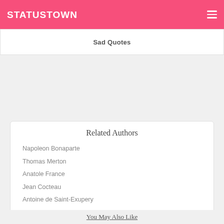STATUSTOWN
Sad Quotes
Related Authors
Napoleon Bonaparte
Thomas Merton
Anatole France
Jean Cocteau
Antoine de Saint-Exupery
Albert Schweitzer
Claude Monet
Henri Matisse
Paul Cézanne
Alexandre Dumas
You May Also Like